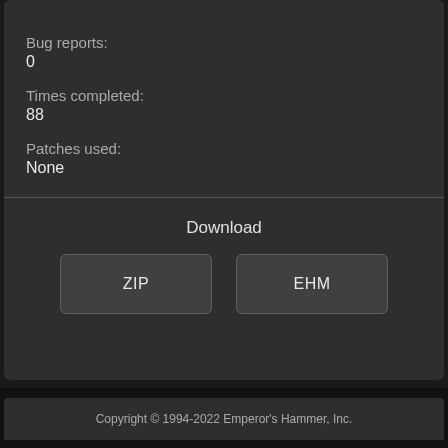Bug reports:
0
Times completed:
88
Patches used:
None
Download
ZIP
EHM
Copyright © 1994-2022 Emperor's Hammer, Inc.